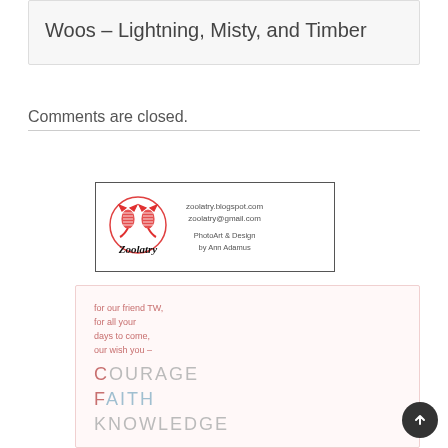Woos – Lightning, Misty, and Timber
Comments are closed.
[Figure (logo): Zoolatry logo with red striped cat illustration, text 'Zoolatry', zoolatry.blogspot.com, zoolatry@gmail.com, PhotoArt & Design by Ann Adamus]
[Figure (illustration): Card with pink/salmon text reading 'for our friend TW, for all your days to come, our wish you –' followed by COURAGE, FAITH, KNOWLEDGE in large letters with first letters highlighted in red/salmon color]